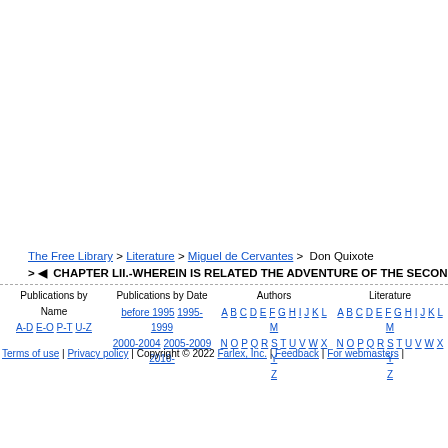The Free Library > Literature > Miguel de Cervantes > Don Quixote > ◄ CHAPTER LII.-WHEREIN IS RELATED THE ADVENTURE OF THE SECOND D
Publications by Name | Publications by Date | Authors | Literature
Terms of use | Privacy policy | Copyright © 2022 Farlex, Inc. | Feedback | For webmasters |